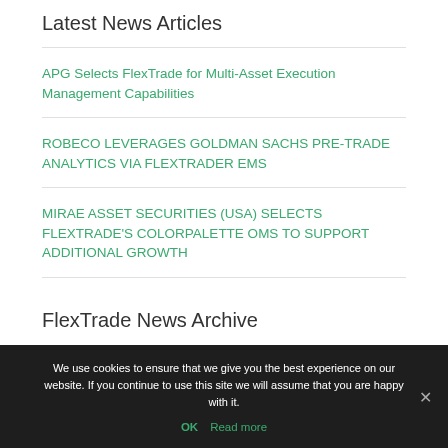Latest News Articles
APG Selects FlexTrade for Multi-Asset Execution Management Capabilities
ROBECO LEVERAGES GOLDMAN SACHS PRE-TRADE ANALYTICS VIA FLEXTRADER EMS
MIRAE ASSET SECURITIES (USA) SELECTS FLEXTRADE'S COLORPALETTE OMS TO SUPPORT ADDITIONAL GROWTH
FlexTrade News Archive
We use cookies to ensure that we give you the best experience on our website. If you continue to use this site we will assume that you are happy with it.
OK  Read more